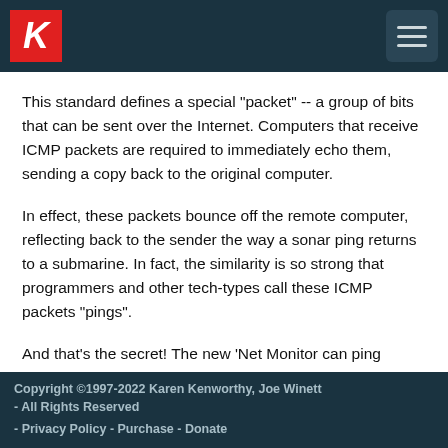K [logo]
This standard defines a special "packet" -- a group of bits that can be sent over the Internet. Computers that receive ICMP packets are required to immediately echo them, sending a copy back to the original computer.
In effect, these packets bounce off the remote computer, reflecting back to the sender the way a sonar ping returns to a submarine. In fact, the similarity is so strong that programmers and other tech-types call these ICMP packets "pings".
And that's the secret! The new 'Net Monitor can ping
Copyright ©1997-2022 Karen Kenworthy, Joe Winett - All Rights Reserved
- Privacy Policy - Purchase - Donate